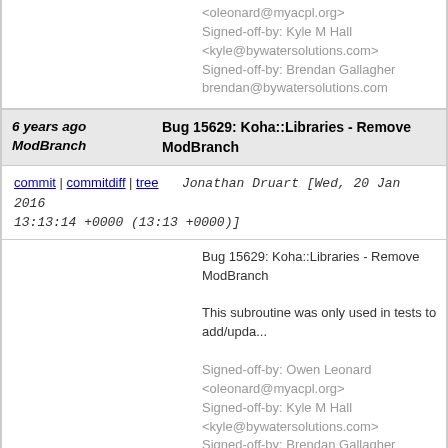<oleonard@myacpl.org>
Signed-off-by: Kyle M Hall <kyle@bywatersolutions.com>
Signed-off-by: Brendan Gallagher brendan@bywatersolutions.com
6 years ago ModBranch
Bug 15629: Koha::Libraries - Remove ModBranch
commit | commitdiff | tree   Jonathan Druart [Wed, 20 Jan 2016 13:13:14 +0000 (13:13 +0000)]
Bug 15629: Koha::Libraries - Remove ModBranch

This subroutine was only used in tests to add/upda...

Signed-off-by: Owen Leonard <oleonard@myacpl.org>
Signed-off-by: Kyle M Hall <kyle@bywatersolutions.com>
Signed-off-by: Brendan Gallagher brendan@bywatersolutions.com
6 years ago GetBranchDetail
Bug 15629: Koha::Libraries - Remove GetBranchDetail
commit | commitdiff | tree   Jonathan Druart [Wed, 20 Jan 2016 12:17:43 +0000 (12:17 +0000)]
Bug 15629: Koha::Libraries - Remove GetBranchD...